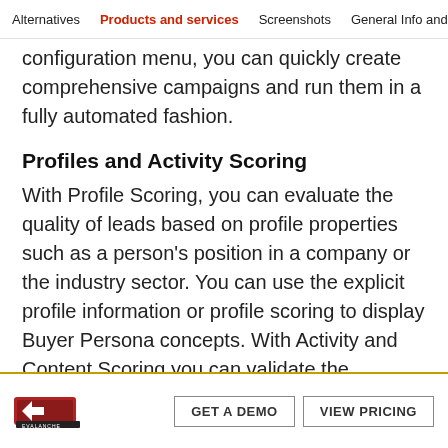Alternatives  Products and services  Screenshots  General Info and L
configuration menu, you can quickly create comprehensive campaigns and run them in a fully automated fashion.
Profiles and Activity Scoring
With Profile Scoring, you can evaluate the quality of leads based on profile properties such as a person's position in a company or the industry sector. You can use the explicit profile information or profile scoring to display Buyer Persona concepts. With Activity and Content Scoring you can validate the interests of your leads based on their click and information behavior.
GET A DEMO  VIEW PRICING